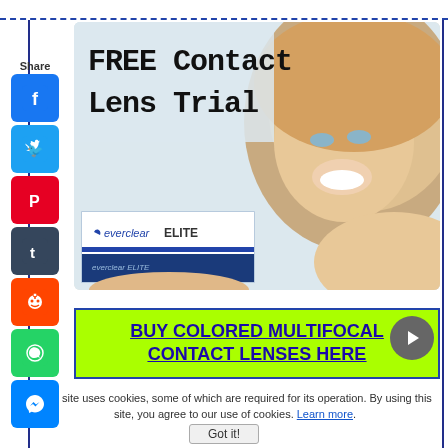[Figure (illustration): Social media share sidebar with Facebook, Twitter, Pinterest, Tumblr, Reddit, WhatsApp, and Messenger icons]
[Figure (photo): Advertisement image: smiling blonde woman holding everclear ELITE contact lens box, with large black text 'FREE Contact Lens Trial' overlaid on light background]
BUY COLORED MULTIFOCAL CONTACT LENSES HERE
This site uses cookies, some of which are required for its operation. By using this site, you agree to our use of cookies. Learn more.
Got it!